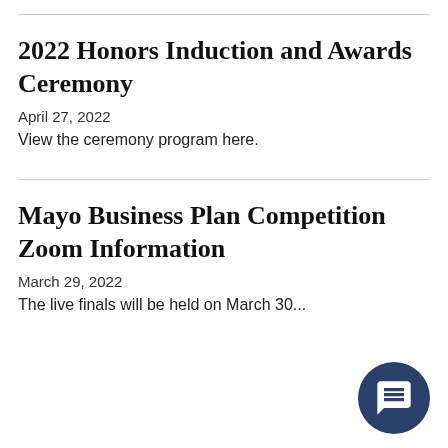2022 Honors Induction and Awards Ceremony
April 27, 2022
View the ceremony program here.
Mayo Business Plan Competition Zoom Information
March 29, 2022
The live finals will be held on March 30...